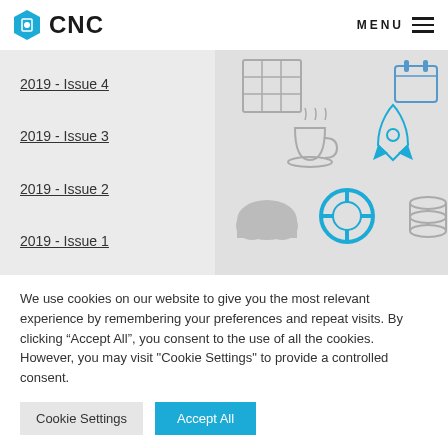CNC — MENU
2019 - Issue 4
2019 - Issue 3
2019 - Issue 2
2019 - Issue 1
[Figure (illustration): Gray panel with icons: spreadsheet grid, coffee cup with steam, rocket, cloud, life preserver ring, database stack, calendar]
We use cookies on our website to give you the most relevant experience by remembering your preferences and repeat visits. By clicking “Accept All”, you consent to the use of all the cookies. However, you may visit "Cookie Settings" to provide a controlled consent.
Cookie Settings   Accept All